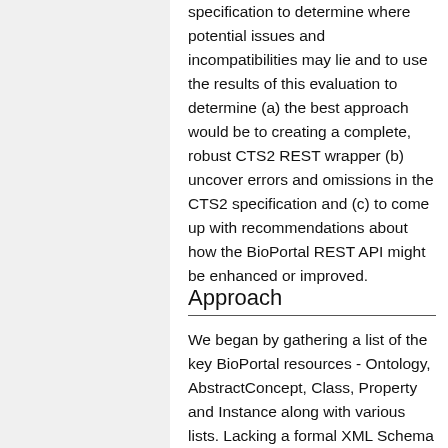specification to determine where potential issues and incompatibilities may lie and to use the results of this evaluation to determine (a) the best approach would be to creating a complete, robust CTS2 REST wrapper (b) uncover errors and omissions in the CTS2 specification and (c) to come up with recommendations about how the BioPortal REST API might be enhanced or improved.
Approach
We began by gathering a list of the key BioPortal resources - Ontology, AbstractConcept, Class, Property and Instance along with various lists. Lacking a formal XML Schema for these resources, we used a combination of